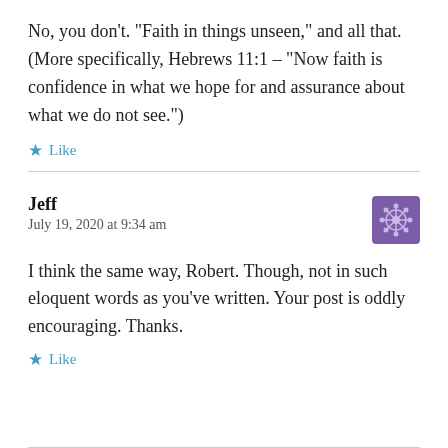No, you don't. “Faith in things unseen,” and all that. (More specifically, Hebrews 11:1 – “Now faith is confidence in what we hope for and assurance about what we do not see.”)
Like
Jeff
July 19, 2020 at 9:34 am
I think the same way, Robert. Though, not in such eloquent words as you’ve written. Your post is oddly encouraging. Thanks.
Like